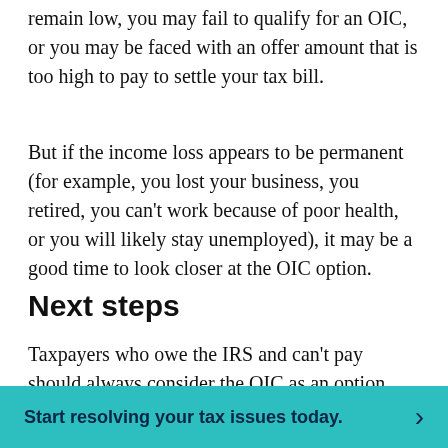remain low, you may fail to qualify for an OIC, or you may be faced with an offer amount that is too high to pay to settle your tax bill.
But if the income loss appears to be permanent (for example, you lost your business, you retired, you can't work because of poor health, or you will likely stay unemployed), it may be a good time to look closer at the OIC option.
Next steps
Taxpayers who owe the IRS and can't pay should always consider the OIC as an option. The first step is to see if you qualify. The IRS offers the OIC Prequalifier tool on its website, but a closer examination of the facts and financials should focus
Start resolving your tax issues today.